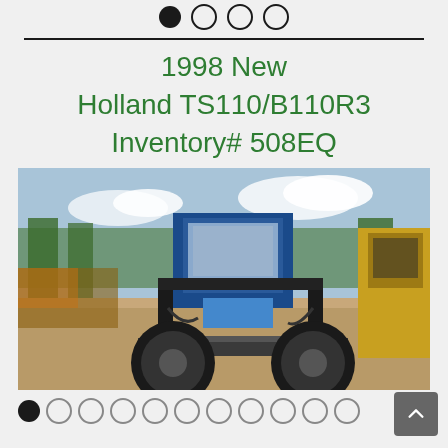[Figure (other): Navigation dot indicators at top — one filled dot and three empty circle dots]
1998 New Holland TS110/B110R3 Inventory# 508EQ
[Figure (photo): Photograph of a 1998 New Holland TS110/B110R3 tractor viewed from the front, showing blue cab, large tires, hydraulic equipment, on a dirt yard with trees and other heavy equipment in the background]
[Figure (other): Navigation dot indicators at bottom — one filled dot and ten empty circle dots, with a scroll-to-top button on the right]